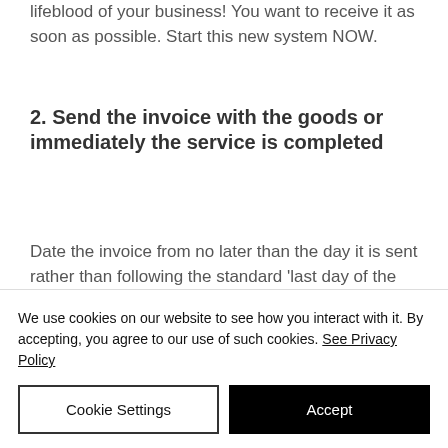lifeblood of your business! You want to receive it as soon as possible. Start this new system NOW.
2. Send the invoice with the goods or immediately the service is completed
Date the invoice from no later than the day it is sent rather than following the standard 'last day of the month' date for invoices. The earlier the invoice date, the better your chances of getting paid earlier.
We use cookies on our website to see how you interact with it. By accepting, you agree to our use of such cookies. See Privacy Policy